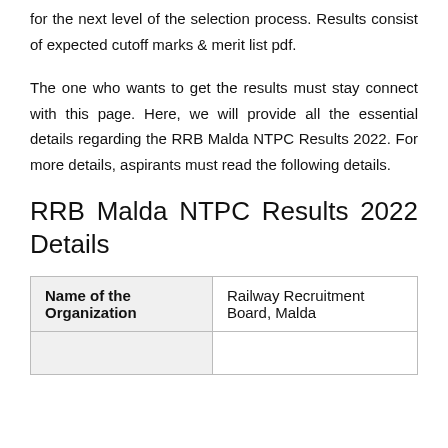for the next level of the selection process. Results consist of expected cutoff marks & merit list pdf.
The one who wants to get the results must stay connect with this page. Here, we will provide all the essential details regarding the RRB Malda NTPC Results 2022. For more details, aspirants must read the following details.
RRB Malda NTPC Results 2022 Details
| Name of the Organization |  |
| --- | --- |
| Name of the Organization | Railway Recruitment Board, Malda |
|  |  |